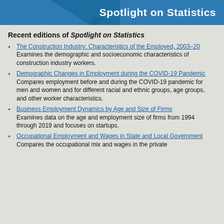Spotlight on Statistics
Recent editions of Spotlight on Statistics
The Construction Industry: Characteristics of the Employed, 2003–20 Examines the demographic and socioeconomic characteristics of construction industry workers.
Demographic Changes in Employment during the COVID-19 Pandemic Compares employment before and during the COVID-19 pandemic for men and women and for different racial and ethnic groups, age groups, and other worker characteristics.
Business Employment Dynamics by Age and Size of Firms Examines data on the age and employment size of firms from 1994 through 2019 and focuses on startups.
Occupational Employment and Wages in State and Local Government Compares the occupational mix and wages in the private